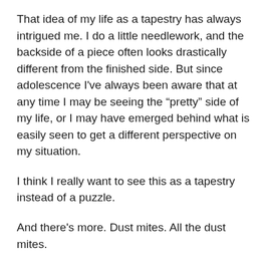That idea of my life as a tapestry has always intrigued me. I do a little needlework, and the backside of a piece often looks drastically different from the finished side. But since adolescence I've always been aware that at any time I may be seeing the “pretty” side of my life, or I may have emerged behind what is easily seen to get a different perspective on my situation.
I think I really want to see this as a tapestry instead of a puzzle.
And there's more. Dust mites. All the dust mites.
I have always known I can't stir up the dust. This is not a new thing, but I was not constantly plagued with the physical aftermath before this past year.
My way of dealing with this has been to avoid cleaning.